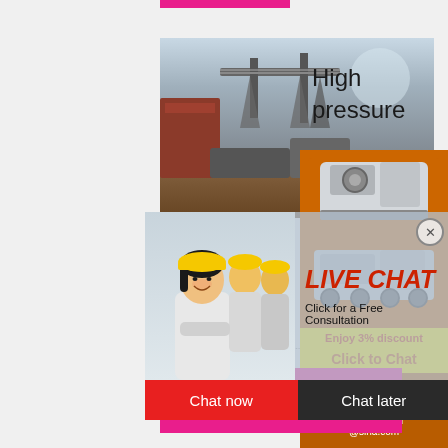[Figure (photo): Pink accent bar at top of page]
[Figure (photo): Industrial crane/conveyor machinery photo]
High pressure
[Figure (photo): Orange panel with crusher/mining machinery images]
Enjoy 3% discount
Click to Chat
Enquiry
limingjlmofen@sina.com
grin
...
[Figure (photo): Live chat popup with workers in hard hats, LIVE CHAT title, Click for a Free Consultation subtitle, Chat now and Chat later buttons]
2006 2 1 - 1.. IntroductionSechient (151...
[Figure (other): Read More button in pink/magenta]
Read More